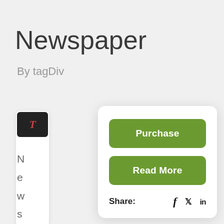Newspaper
By tagDiv
[Figure (screenshot): Partially visible plugin/theme card with small dark icon badge showing 'T' logo, and partial text column on the left side]
[Figure (screenshot): White modal card with two green buttons labeled 'Purchase' and 'Read More', and a Share row with Facebook, Twitter, and LinkedIn icons]
Purchase
Read More
Share:
f  ❧  in